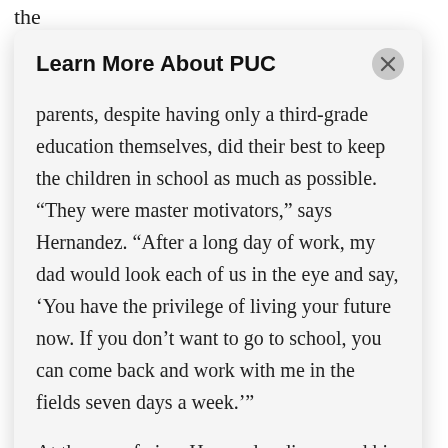the
far
pro
Learn More About PUC
parents, despite having only a third-grade education themselves, did their best to keep the children in school as much as possible. “They were master motivators,” says Hernandez. “After a long day of work, my dad would look each of us in the eye and say, ‘You have the privilege of living your future now. If you don’t want to go to school, you can come back and work with me in the fields seven days a week.’”
At the age of nine, Hernandez discovered his dream of becoming an astronaut when he watched the final Apollo lunar mission on TV. “I kept running outside to look up at the full moon, then back in to watch him walk across the surface,” he said. “I couldn’t believe that in 1972 we had humans on the surface of the